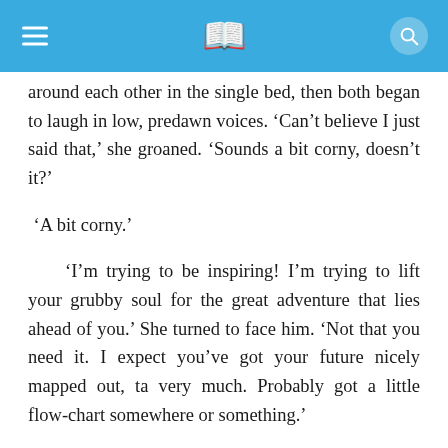[app header with hamburger menu, book icon, search icon]
around each other in the single bed, then both began to laugh in low, predawn voices. ‘Can’t believe I just said that,’ she groaned. ‘Sounds a bit corny, doesn’t it?’
‘A bit corny.’
‘I’m trying to be inspiring! I’m trying to lift your grubby soul for the great adventure that lies ahead of you.’ She turned to face him. ‘Not that you need it. I expect you’ve got your future nicely mapped out, ta very much. Probably got a little flow-chart somewhere or something.’